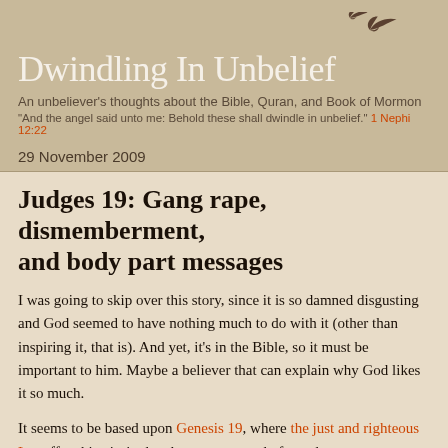[Figure (illustration): Two silhouetted birds (dove/swallow shapes) in the upper right corner of the header area, decorative blog header element]
Dwindling In Unbelief
An unbeliever's thoughts about the Bible, Quran, and Book of Mormon
"And the angel said unto me: Behold these shall dwindle in unbelief." 1 Nephi 12:22
29 November 2009
Judges 19: Gang rape, dismemberment, and body part messages
I was going to skip over this story, since it is so damned disgusting and God seemed to have nothing much to do with it (other than inspiring it, that is). And yet, it's in the Bible, so it must be important to him. Maybe a believer that can explain why God likes it so much.
It seems to be based upon Genesis 19, where the just and righteous Lot offers his virgin daughters to a crowd of angel rapers.